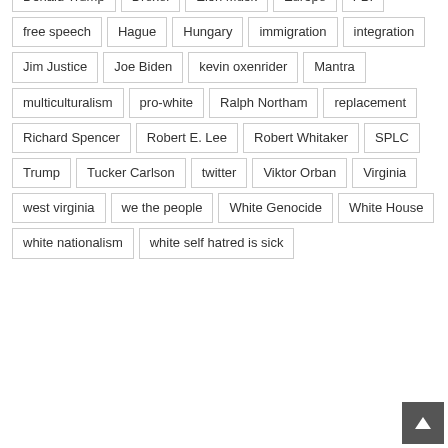Donald Trump
Drexel
Elon Musk
Europe
FBI
free speech
Hague
Hungary
immigration
integration
Jim Justice
Joe Biden
kevin oxenrider
Mantra
multiculturalism
pro-white
Ralph Northam
replacement
Richard Spencer
Robert E. Lee
Robert Whitaker
SPLC
Trump
Tucker Carlson
twitter
Viktor Orban
Virginia
west virginia
we the people
White Genocide
White House
white nationalism
white self hatred is sick